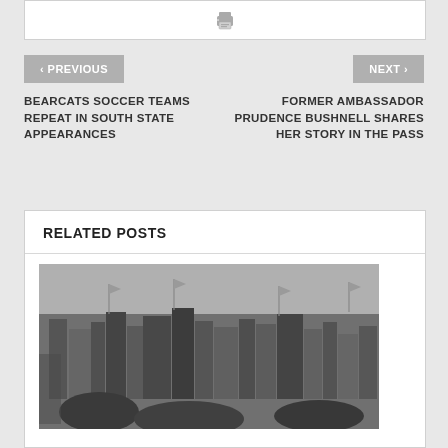[Figure (screenshot): Top white box with printer icon]
< PREVIOUS
NEXT >
BEARCATS SOCCER TEAMS REPEAT IN SOUTH STATE APPEARANCES
FORMER AMBASSADOR PRUDENCE BUSHNELL SHARES HER STORY IN THE PASS
RELATED POSTS
[Figure (photo): Black and white aerial/skyline photograph of a city with flags and buildings]